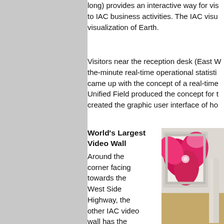long) provides an interactive way for visitors to IAC business activities. The IAC visualization of Earth.
Visitors near the reception desk (East Wing) the-minute real-time operational statistics came up with the concept of a real-time Unified Field produced the concept for created the graphic user interface of how
World's Largest Video Wall
Around the corner facing towards the West Side Highway, the other IAC video wall has the distinct honor of being one of the longest, seamless (11-foot tall by 118-feet long) video displays in a
[Figure (photo): Photo of a large framed video wall display showing a close-up of pink/red flowers, mounted on a wall in what appears to be an interior space with a wooden floor and a white column visible.]